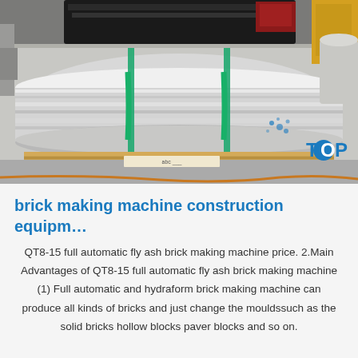[Figure (photo): Large industrial cylindrical metal roller or drum sitting on wooden pallets in a factory/warehouse setting. The roller is silver/metallic with green straps securing it. Overhead machinery visible in background.]
brick making machine construction equipm…
QT8-15 full automatic fly ash brick making machine price. 2.Main Advantages of QT8-15 full automatic fly ash brick making machine (1) Full automatic and hydraform brick making machine can produce all kinds of bricks and just change the mouldssuch as the solid bricks hollow blocks paver blocks and so on.